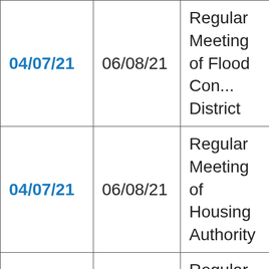| 04/07/21 | 06/08/21 | Regular Meeting of Flood Con... District |
| 04/07/21 | 06/08/21 | Regular Meeting of Housing Authority |
| 04/07/21 | 05/18/21 | Regular Meeting of In-Home Supportive... |